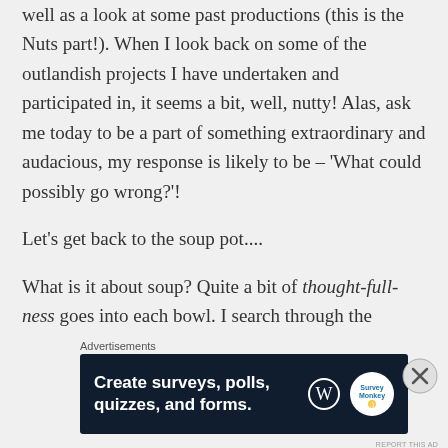well as a look at some past productions (this is the Nuts part!). When I look back on some of the outlandish projects I have undertaken and participated in, it seems a bit, well, nutty! Alas, ask me today to be a part of something extraordinary and audacious, my response is likely to be – 'What could possibly go wrong?'!
Let's get back to the soup pot....
What is it about soup? Quite a bit of thought-fullness goes into each bowl. I search through the
Advertisements
[Figure (screenshot): Advertisement banner with dark navy background reading 'Create surveys, polls, quizzes, and forms.' with WordPress logo and a circular Survey Monkey badge icon on the right.]